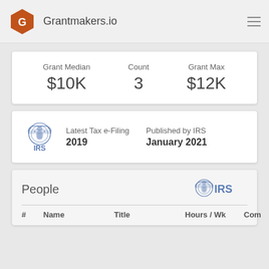Grantmakers.io
Grant Median $10K   Count 3   Grant Max $12K
Latest Tax e-Filing 2019   Published by IRS January 2021
People
| # | Name | Title | Hours / Wk | Com |
| --- | --- | --- | --- | --- |